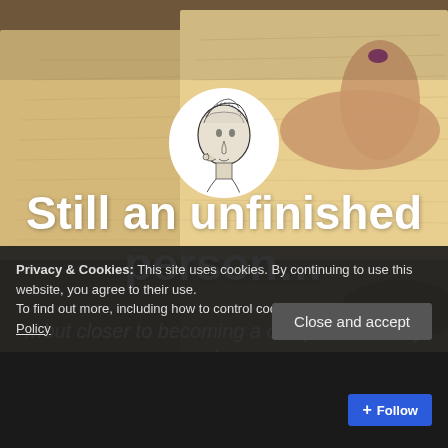[Figure (photo): Background photo of a person reading a book, with hands visible holding open pages]
[Figure (illustration): Circular avatar showing an anatomical illustration of a human head with brain exposed, black and white drawing]
Still an unfinished person…
…but closer to becoming a complete one day by day
Privacy & Cookies: This site uses cookies. By continuing to use this website, you agree to their use.
To find out more, including how to control cookies, see here: Cookie Policy
Close and accept